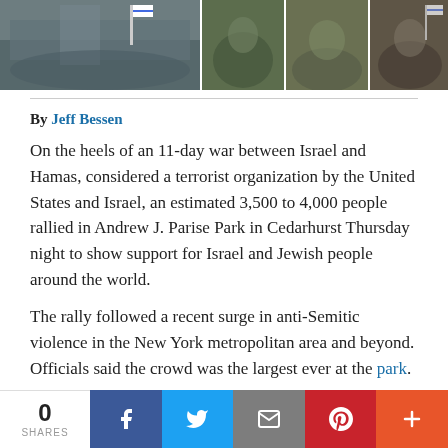[Figure (photo): Photo strip showing rally scenes: large crowd with Israeli flags (main photo) and three smaller photos of rally participants]
By Jeff Bessen
On the heels of an 11-day war between Israel and Hamas, considered a terrorist organization by the United States and Israel, an estimated 3,500 to 4,000 people rallied in Andrew J. Parise Park in Cedarhurst Thursday night to show support for Israel and Jewish people around the world.
The rally followed a recent surge in anti-Semitic violence in the New York metropolitan area and beyond. Officials said the crowd was the largest ever at the park.
Organizations ranging from the American Jewish
0 SHARES  [Facebook] [Twitter] [Email] [Pinterest] [More]